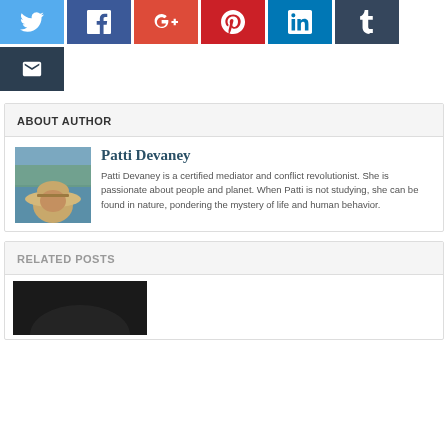[Figure (other): Social media share buttons row: Twitter (blue bird), Facebook (dark blue f), Google+ (red g+), Pinterest (red p), LinkedIn (blue in), Tumblr (dark blue t), and Email (dark envelope)]
ABOUT AUTHOR
[Figure (photo): Photo of Patti Devaney wearing a straw hat near water]
Patti Devaney
Patti Devaney is a certified mediator and conflict revolutionist. She is passionate about people and planet. When Patti is not studying, she can be found in nature, pondering the mystery of life and human behavior.
RELATED POSTS
[Figure (photo): Partially visible dark photo thumbnail for a related post]